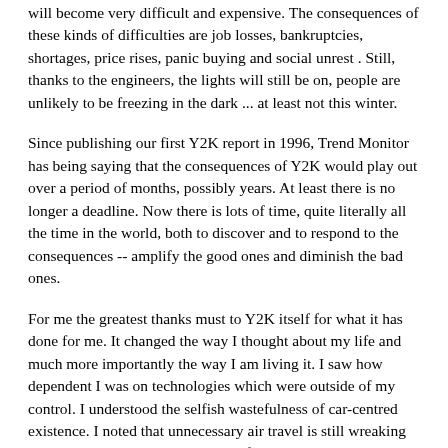will become very difficult and expensive. The consequences of these kinds of difficulties are job losses, bankruptcies, shortages, price rises, panic buying and social unrest . Still, thanks to the engineers, the lights will still be on, people are unlikely to be freezing in the dark ... at least not this winter.
Since publishing our first Y2K report in 1996, Trend Monitor has being saying that the consequences of Y2K would play out over a period of months, possibly years. At least there is no longer a deadline. Now there is lots of time, quite literally all the time in the world, both to discover and to respond to the consequences -- amplify the good ones and diminish the bad ones.
For me the greatest thanks must to Y2K itself for what it has done for me. It changed the way I thought about my life and much more importantly the way I am living it. I saw how dependent I was on technologies which were outside of my control. I understood the selfish wastefulness of car-centred existence. I noted that unnecessary air travel is still wreaking havoc with the ozone layer, years after the Montreal treaty banned CFCs. I